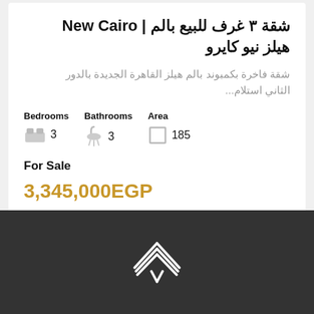شقة ٣ غرف للبيع بالم هيلز نيو كايرو | New Cairo
شقة فاخرة بكمبوند بالم هيلز القاهرة الجديدة بالدور الثاني استلام...
| Bedrooms | Bathrooms | Area |
| --- | --- | --- |
| 3 | 3 | 185 |
For Sale
3,345,000EGP
[Figure (logo): White stylized logo mark on dark background]